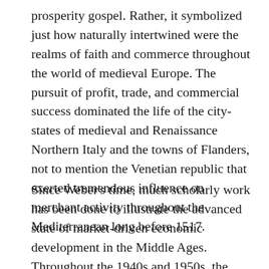prosperity gospel. Rather, it symbolized just how naturally intertwined were the realms of faith and commerce throughout the world of medieval Europe. The pursuit of profit, trade, and commercial success dominated the life of the city-states of medieval and Renaissance Northern Italy and the towns of Flanders, not to mention the Venetian republic that exerted tremendous influence on merchant activity throughout the Mediterranean long before 1517.
Since Weber's time, much scholarly work has been done to illustrate the advanced state of market-driven economic development in the Middle Ages. Throughout the 1940s and 1950s, the Belgian scholar Raymond de Roover penned numerous